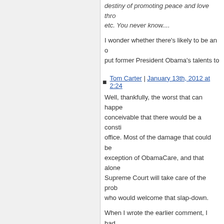destiny of promoting peace and love thro etc. You never know....
I wonder whether there's likely to be an o put former President Obama's talents to
Tom Carter | January 13th, 2012 at 2:24
Well, thankfully, the worst that can happe conceivable that there would be a consti office. Most of the damage that could be exception of ObamaCare, and that alone Supreme Court will take care of the prob who would welcome that slap-down.
When I wrote the earlier comment, I had who despite rumors can't live forever. I've twice), even though his ideas these days replacement as a largely ignored leftist w
Dan Miller | January 13th, 2012 at 3:36 p
Tom, you say
Most of the damage that could be do exception of ObamaCare, and that a
I agree that ObamaCare alone is a suffic unless one considers the national debt li